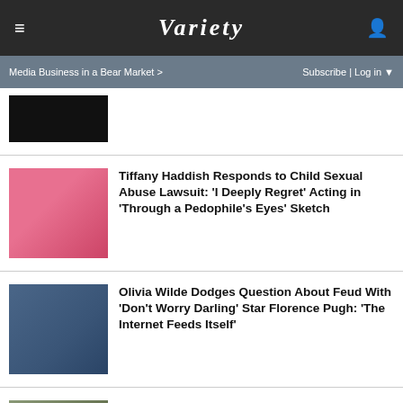VARIETY
Media Business in a Bear Market > Subscribe | Log in
[Figure (photo): Partial article thumbnail image at top, partially cropped]
Tiffany Haddish Responds to Child Sexual Abuse Lawsuit: 'I Deeply Regret' Acting in 'Through a Pedophile's Eyes' Sketch
Olivia Wilde Dodges Question About Feud With 'Don't Worry Darling' Star Florence Pugh: 'The Internet Feeds Itself'
Timothée Chalamet's Sexy Bisexual Cannibal Stuns Venice: 'Bones and All' Gets 8.5-Minute Standing Ovation
SPY-TESTED MASSAGE GUN NOW JUST $79 SPY